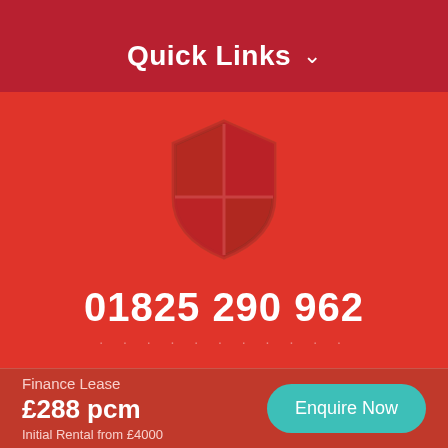Quick Links ▾
[Figure (illustration): A shield icon with a quartered design in a darker red color, centered on a red background]
01825 290 962
Finance Lease
£288 pcm
Initial Rental from £4000
Enquire Now